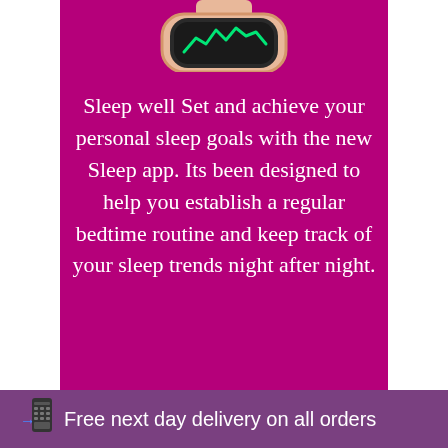[Figure (photo): Partial view of a smartwatch (gold/rose gold) with a dark screen showing green activity graphic, cropped at the top of the card]
Sleep well Set and achieve your personal sleep goals with the new Sleep app. Its been designed to help you establish a regular bedtime routine and keep track of your sleep trends night after night.
Free next day delivery on all orders